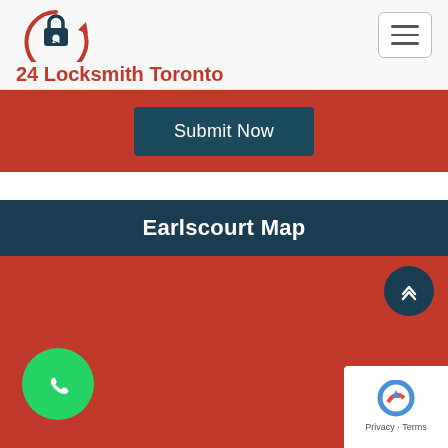24 Locksmith Toronto
[Figure (logo): 24 Locksmith Toronto logo with padlock icon and circular arrow, red brand name text below]
[Figure (other): Hamburger menu button (three horizontal lines) in a rounded rectangle border]
[Figure (other): Red background section with a dark teal Submit Now button]
Earlscourt Map
[Figure (map): Red placeholder area representing an embedded map of Earlscourt, with a back-to-top arrow button (dark teal circle), a WhatsApp call button (green circle with phone icon), and a Google reCAPTCHA badge in the bottom right corner.]